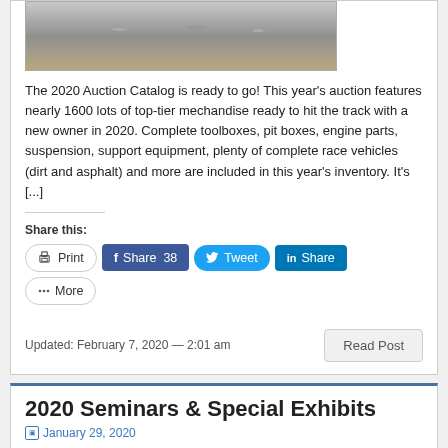[Figure (photo): Photo of a metal engine part (likely a cylinder head or intake manifold), silver/aluminum colored, viewed from above on a wooden surface.]
The 2020 Auction Catalog is ready to go! This year's auction features nearly 1600 lots of top-tier mechandise ready to hit the track with a new owner in 2020. Complete toolboxes, pit boxes, engine parts, suspension, support equipment, plenty of complete race vehicles (dirt and asphalt) and more are included in this year's inventory. It's [...]
Share this:
Print | Share 38 | Tweet | Share | More
Updated: February 7, 2020 — 2:01 am
2020 Seminars & Special Exhibits
January 29, 2020
[Figure (photo): Photo of a seminar or exhibit room with monitors/screens and equipment visible, dimly lit.]